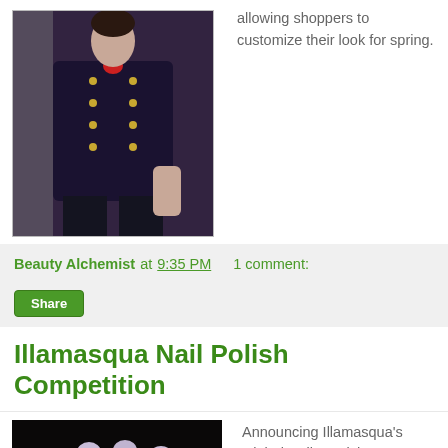[Figure (photo): Fashion photo of a person in dark military-style jacket with gold buttons and studs, wearing dark pants, against a grey wall]
allowing shoppers to customize their look for spring.
Beauty Alchemist at 9:35 PM    1 comment:
Share
Illamasqua Nail Polish Competition
[Figure (photo): Close-up photo of fingernails with light purple/lilac nail polish against a dark background]
Announcing Illamasqua's Global Nail Varnish Competition - Fall 2010